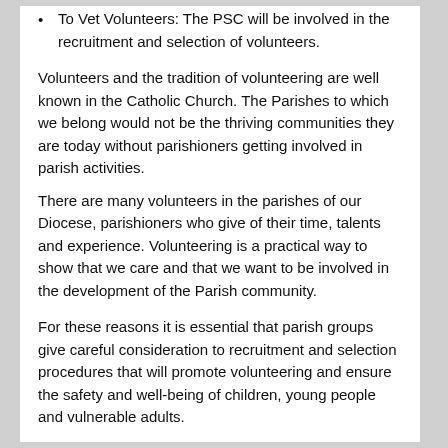To Vet Volunteers: The PSC will be involved in the recruitment and selection of volunteers.
Volunteers and the tradition of volunteering are well known in the Catholic Church. The Parishes to which we belong would not be the thriving communities they are today without parishioners getting involved in parish activities.
There are many volunteers in the parishes of our Diocese, parishioners who give of their time, talents and experience. Volunteering is a practical way to show that we care and that we want to be involved in the development of the Parish community.
For these reasons it is essential that parish groups give careful consideration to recruitment and selection procedures that will promote volunteering and ensure the safety and well-being of children, young people and vulnerable adults.
Some may view thorough selection procedures as an unnecessary burden, particularly if the person is part-time